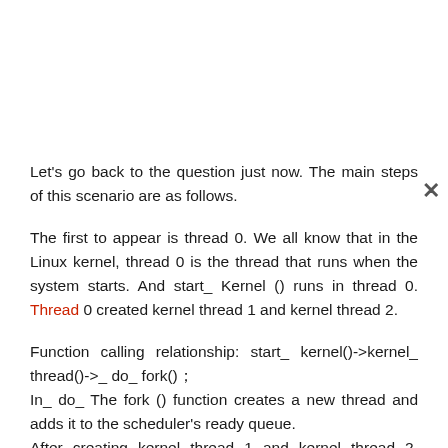Let's go back to the question just now. The main steps of this scenario are as follows.
The first to appear is thread 0. We all know that in the Linux kernel, thread 0 is the thread that runs when the system starts. And start_ Kernel () runs in thread 0. Thread 0 created kernel thread 1 and kernel thread 2.
Function calling relationship: start_ kernel()->kernel_ thread()->_ do_ fork()
In_ do_ The fork () function creates a new thread and adds it to the scheduler's ready queue.
After creating kernel thread 1 and kernel thread 2, thread 0 enters the while loop. Thread 0 will not exit. It